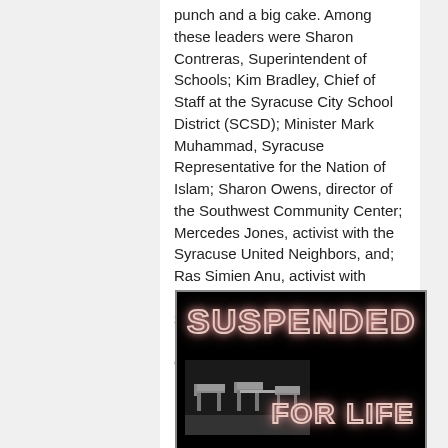punch and a big cake. Among these leaders were Sharon Contreras, Superintendent of Schools; Kim Bradley, Chief of Staff at the Syracuse City School District (SCSD); Minister Mark Muhammad, Syracuse Representative for the Nation of Islam; Sharon Owens, director of the Southwest Community Center; Mercedes Jones, activist with the Syracuse United Neighbors, and; Ras Simien Anu, activist with Freeing the Afrikan Mind Project 315. Billue signed copies of her book for Contreras, Bradley, Owens and other civic personalities.
[Figure (illustration): Book cover for 'Suspended For Life' — black background with glowing neon-style text reading 'SUSPENDED' at top and 'FOR LIFE' at bottom right, with an image of empty classroom chairs/desks on the lower left.]